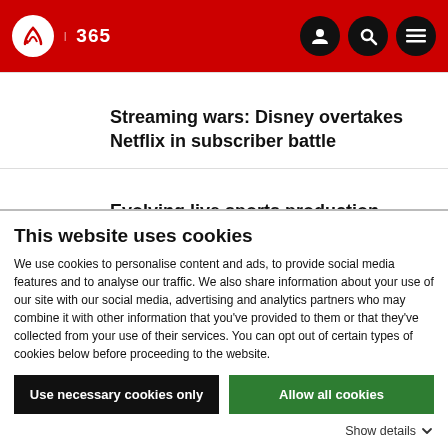IBC 365
Streaming wars: Disney overtakes Netflix in subscriber battle
Evolving live sports production - lessons from the biggest sporting events
This website uses cookies
We use cookies to personalise content and ads, to provide social media features and to analyse our traffic. We also share information about your use of our site with our social media, advertising and analytics partners who may combine it with other information that you've provided to them or that they've collected from your use of their services. You can opt out of certain types of cookies below before proceeding to the website.
Use necessary cookies only
Allow all cookies
Show details